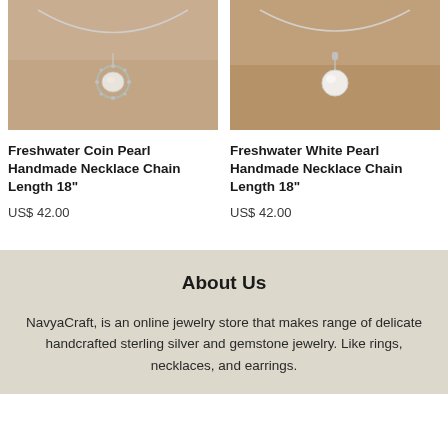[Figure (photo): Photo of Freshwater Coin Pearl necklace worn around neck, silver chain with coin pearl pendant surrounded by decorative silver setting]
Freshwater Coin Pearl Handmade Necklace Chain Length 18"
US$ 42.00
[Figure (photo): Photo of Freshwater White Pearl necklace worn around neck, silver chain with white round pearl pendant]
Freshwater White Pearl Handmade Necklace Chain Length 18"
US$ 42.00
About Us
NavyaCraft, is an online jewelry store that makes range of delicate handcrafted sterling silver and gemstone jewelry. Like rings, necklaces, and earrings.